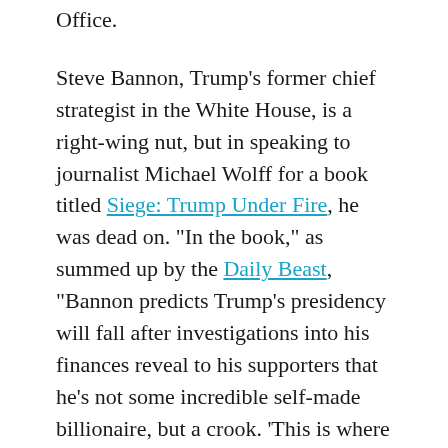Office.
Steve Bannon, Trump's former chief strategist in the White House, is a right-wing nut, but in speaking to journalist Michael Wolff for a book titled Siege: Trump Under Fire, he was dead on. "In the book," as summed up by the Daily Beast, "Bannon predicts Trump's presidency will fall after investigations into his finances reveal to his supporters that he's not some incredible self-made billionaire, but a crook. 'This is where it isn't a witch hunt—even for the hard-core, this is where he turns into just a crooked business guy, and one worth $50m instead of $10bn,' Bannon is quoted as saying. 'Not the billionaire he said he was, just another scumbag.'"
Those facts and more could come out as a daily